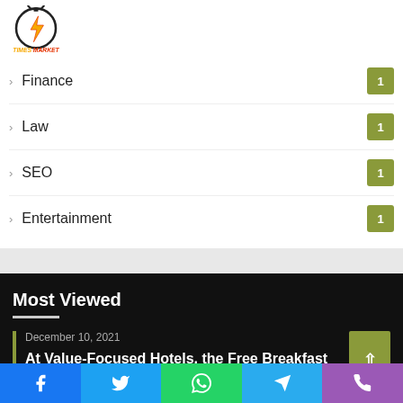[Figure (logo): Times Market logo with lightning bolt stopwatch icon and orange/red text]
Finance 1
Law 1
SEO 1
Entertainment 1
Most Viewed
December 10, 2021
At Value-Focused Hotels, the Free Breakfast Gets Bigger